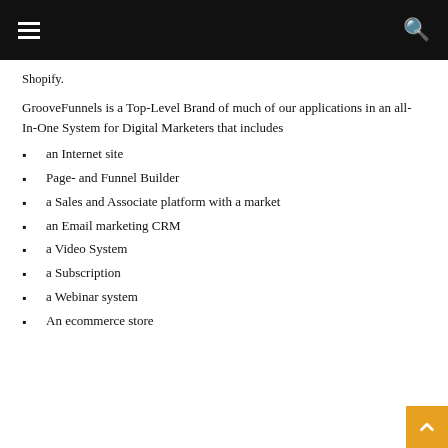Shopify.
GrooveFunnels is a Top-Level Brand of much of our applications in an all-In-One System for Digital Marketers that includes
an Internet site
Page- and Funnel Builder
a Sales and Associate platform with a market
an Email marketing CRM
a Video System
a Subscription
a Webinar system
An ecommerce store